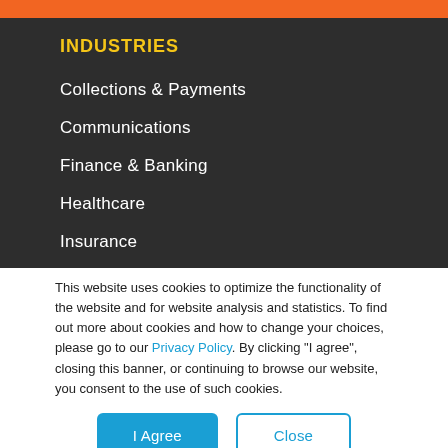INDUSTRIES
Collections & Payments
Communications
Finance & Banking
Healthcare
Insurance
Restaurants
Retail & Technology
This website uses cookies to optimize the functionality of the website and for website analysis and statistics. To find out more about cookies and how to change your choices, please go to our Privacy Policy. By clicking "I agree", closing this banner, or continuing to browse our website, you consent to the use of such cookies.
I Agree
Close